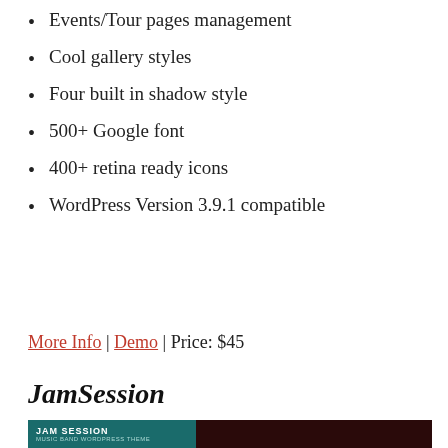Events/Tour pages management
Cool gallery styles
Four built in shadow style
500+ Google font
400+ retina ready icons
WordPress Version 3.9.1 compatible
More Info | Demo | Price: $45
JamSession
[Figure (screenshot): Screenshot of the JamSession music band WordPress theme showing a dark header with 'JAM SESSION' branding on a teal background on the left and a dark maroon website interface on the right.]